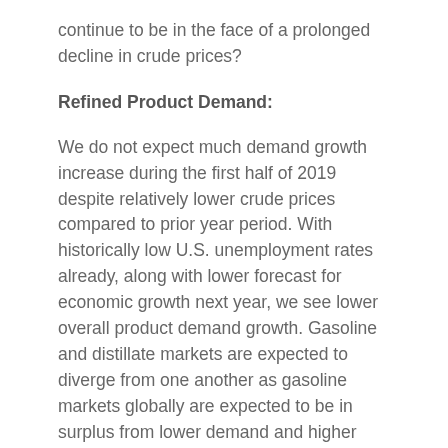continue to be in the face of a prolonged decline in crude prices?
Refined Product Demand:
We do not expect much demand growth increase during the first half of 2019 despite relatively lower crude prices compared to prior year period. With historically low U.S. unemployment rates already, along with lower forecast for economic growth next year, we see lower overall product demand growth. Gasoline and distillate markets are expected to diverge from one another as gasoline markets globally are expected to be in surplus from lower demand and higher crude runs, while distillate markets will gain strength from higher demand resulting from the IMO fuel specification change. While expectations for transport fuel demand are flat to modest growth, we see continued increase in